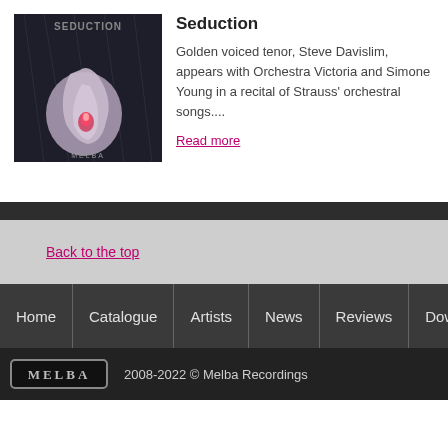[Figure (illustration): Album cover for 'Seduction' showing a stylized flower with a candle flame on dark background with text 'SEDUCTION' and 'MELBA' at bottom]
Seduction
Golden voiced tenor, Steve Davislim, appears with Orchestra Victoria and Simone Young in a recital of Strauss' orchestral songs....
Read more
Back to the top
Home | Catalogue | Artists | News | Reviews | Dow...
2008-2022 © Melba Recordings